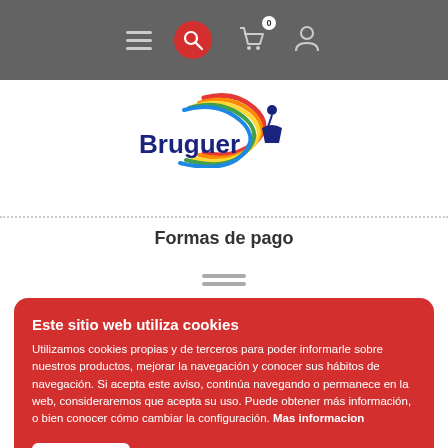[Figure (screenshot): Website navigation bar with hamburger menu, red search icon, cart with 0 badge, and user profile icon on dark grey background]
[Figure (logo): Bruguer brand logo with rainbow swirl graphic and person silhouette]
Formas de pago
[Figure (other): Two decorative horizontal grey lines]
Este sitio web utiliza cookies
Utilizamos cookies propias y de terceros para poder informarle sobre nuestros productos, mejorar la navegación y conocer sus hábitos de navegación. Si acepta este aviso, continúa navegando o permanece en la web, consideraremos que acepta su uso. Puede obtener más información, o bien conocer cómo cambiar la configuración. Mas informacion
Guardar
Cambiar ajustes